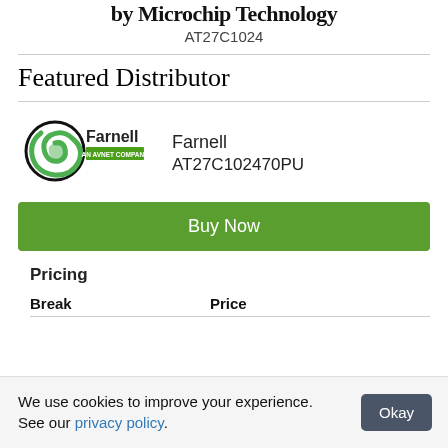AT27C1024
Featured Distributor
[Figure (logo): Farnell – An Avnet Company logo with green swirl and text]
Farnell
AT27C102470PU
Buy Now
Pricing
| Break | Price |
| --- | --- |
We use cookies to improve your experience. See our privacy policy.